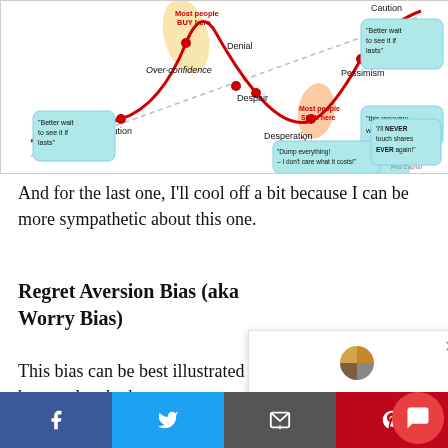[Figure (infographic): Market cycle emotions diagram showing a red wave curve with labeled emotional stages: Over-confidence, Denial, Pessimism, Despair, Desperation, Caution. Speech bubbles include 'Most people BUY here', 'Most people SELL here', 'Better wait to see it if lasts', 'Dump everything! – I don't care what it costs!', 'I'll NEVER touch shares EVER again!', 'this recovery won't last'. Attribution: Prio Capital.]
And for the last one, I'll cool off a bit because I can be more sympathetic about this one.
Regret Aversion Bias (aka Worry Bias)
This bias can be best illustrated by people who bury their head in the sand. We've made a mistake or...
[Figure (other): Popup chat widget with pie chart logo, close X button, and text: 'Have a question about your investments, retirement, estate plan, or income tax strategies? I'm happy to help.']